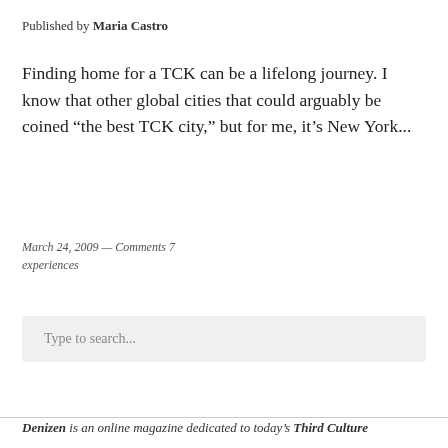Published by Maria Castro
Finding home for a TCK can be a lifelong journey. I know that other global cities that could arguably be coined “the best TCK city,” but for me, it’s New York...
March 24, 2009 — Comments 7
experiences
Type to search...
Denizen is an online magazine dedicated to today’s Third Culture...